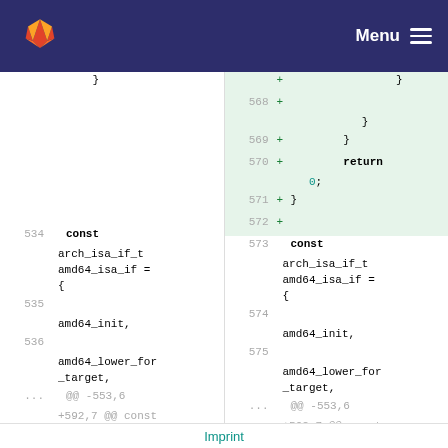GitLab — Menu
Diff view showing code changes. Left panel: lines 534-536 (old). Right panel: lines 568-575 (new) with additions including return 0; and const arch_isa_if_t amd64_isa_if = { content
Imprint